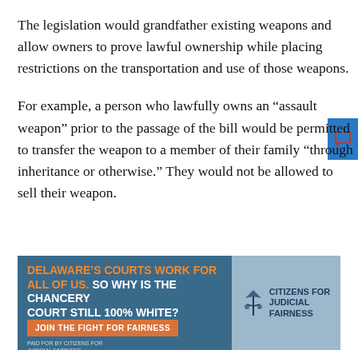The legislation would grandfather existing weapons and allow owners to prove lawful ownership while placing restrictions on the transportation and use of those weapons.
For example, a person who lawfully owns an “assault weapon” prior to the passage of the bill would be permitted to transfer the weapon to a member of their family “through inheritance or otherwise.” They would not be allowed to sell their weapon.
[Figure (other): Advertisement banner for Citizens for Judicial Fairness. Left side (dark blue): headline in orange/white text: 'DELAWARE'S COURTS WORK FOR ALL OF US. SO WHY IS THE CHANCERY COURT STILL 100% WHITE?' with an orange button 'JOIN THE FIGHT FOR FAIRNESS'. Right side (light blue): Citizens for Judicial Fairness logo with scales of justice icon and text. Footer: 'PAID FOR BY CITIZENS FOR JUDICIAL FAIRNESS'.]